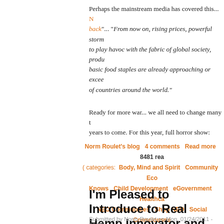Perhaps the mainstream media has covered this... N back"... "From now on, rising prices, powerful storms to play havoc with the fabric of global society, produ basic food staples are already approaching or excee of countries around the world."
Ready for more war... we all need to change many t years to come. For this year, full horror show:
Norm Roulet's blog   4 comments   Read more   8481 rea ( categories: Body, Mind and Spirit   Community   Eco Knows   Child Development   eGovernment   Healthca NEO Communities   Shop NEO   Social Consciousne Green Development   Biofuel   eLearning   Fuel Cell   G
I'm Pleased to Introduce to Real Hemp Innovator and Case Alum
Submitted by Norm Roulet on Mon, 01/24/2011 - 02:25.
[Figure (photo): A close-up photo showing a white and red polka dot surface with what appears to be a product/packaging item partially visible at the bottom.]